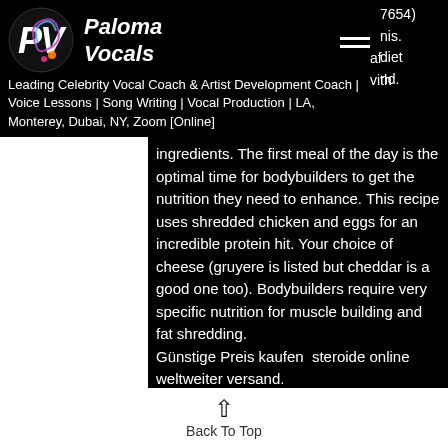Paloma Vocals — Leading Celebrity Vocal Coach & Artist Development Coach | Voice Lessons | Song Writing | Vocal Production | LA, Monterey, Dubai, NY, Zoom [Online]
ingredients. The first meal of the day is the optimal time for bodybuilders to get the nutrition they need to enhance. This recipe uses shredded chicken and eggs for an incredible protein hit. Your choice of cheese (gruyere is listed but cheddar is a good one too). Bodybuilders require very specific nutrition for muscle building and fat shredding.
Günstige Preis kaufen  steroide online weltweiter versand.
Wie wirken testosteron tabletten, köpa
Back To Top